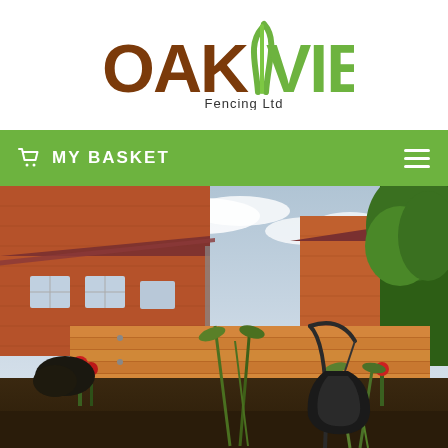[Figure (logo): OakView Fencing Ltd logo with brown OAK text and green VIEW text with a stylized grass/leaf mark between them]
MY BASKET
[Figure (photo): A garden with a horizontal wooden fence (cedar/pine boards) with brick houses behind it, green trees, hanging chair/swing, and garden plants in the foreground]